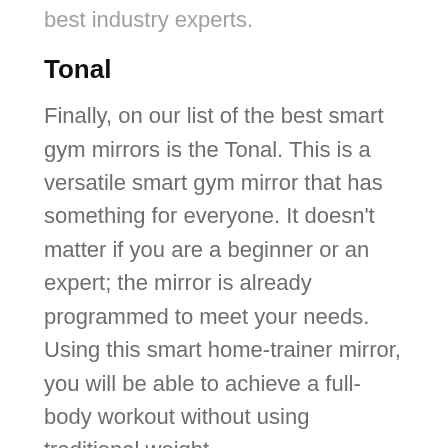best industry experts.
Tonal
Finally, on our list of the best smart gym mirrors is the Tonal. This is a versatile smart gym mirror that has something for everyone. It doesn't matter if you are a beginner or an expert; the mirror is already programmed to meet your needs. Using this smart home-trainer mirror, you will be able to achieve a full-body workout without using traditional weight.
There you have it! Above are some of the best smart gym mirrors. You shouldn't relent on your fitness goals simply because going to a gym is impossible, or you can't hire a personal